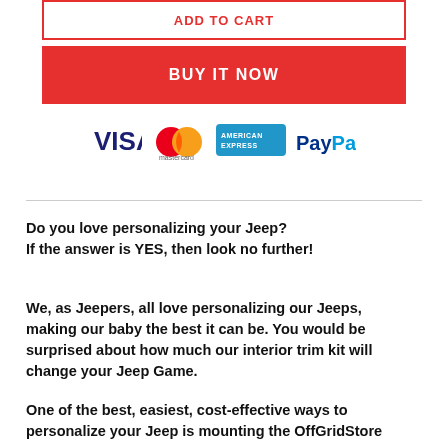ADD TO CART
BUY IT NOW
[Figure (logo): Payment method logos: Visa, Mastercard, American Express, PayPal]
Do you love personalizing your Jeep?
If the answer is YES, then look no further!
We, as Jeepers, all love personalizing our Jeeps, making our baby the best it can be. You would be surprised about how much our interior trim kit will change your Jeep Game.
One of the best, easiest, cost-effective ways to personalize your Jeep is mounting the OffGridStore